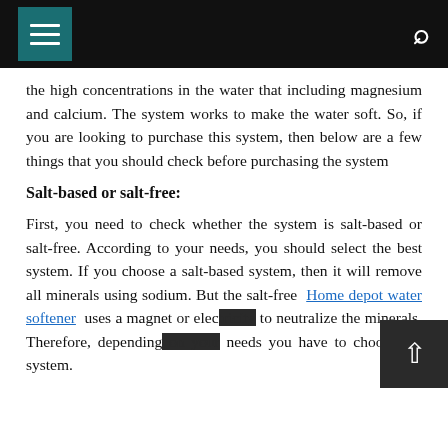Navigation bar with menu and search icons
the high concentrations in the water that including magnesium and calcium. The system works to make the water soft. So, if you are looking to purchase this system, then below are a few things that you should check before purchasing the system
Salt-based or salt-free:
First, you need to check whether the system is salt-based or salt-free. According to your needs, you should select the best system. If you choose a salt-based system, then it will remove all minerals using sodium. But the salt-free Home depot water softener uses a magnet or electricity to neutralize the minerals. Therefore, depending on your needs you have to choose the system.